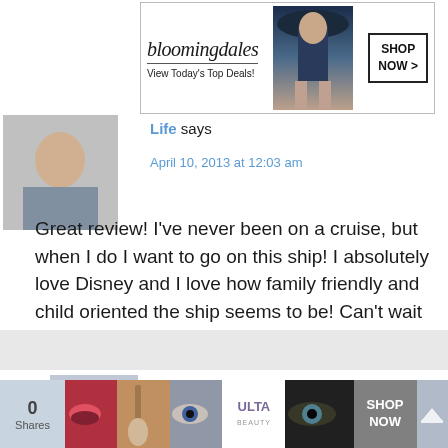[Figure (other): Bloomingdale's advertisement banner: logo, 'View Today's Top Deals!', model in hat, SHOP NOW button]
Life says
April 10, 2013 at 12:03 am
Great review! I've never been on a cruise, but when I do I want to go on this ship! I absolutely love Disney and I love how family friendly and child oriented the ship seems to be! Can't wait to read about Castaway Cay!
Susannah says
April 10, 2013 at 1:35 pm
[Figure (other): ULTA beauty advertisement bar with makeup imagery and SHOP NOW button]
0 Shares